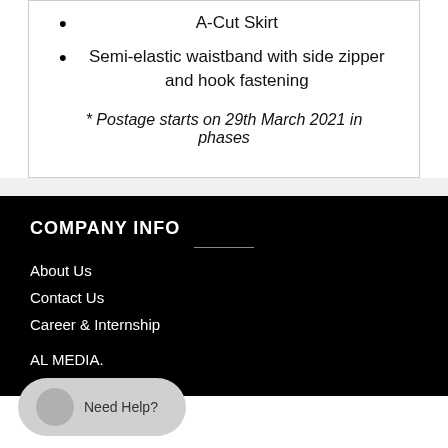A-Cut Skirt
Semi-elastic waistband with side zipper and hook fastening
* Postage starts on 29th March 2021 in phases
COMPANY INFO
About Us
Contact Us
Career & Internship
AL MEDIA.
Need Help?